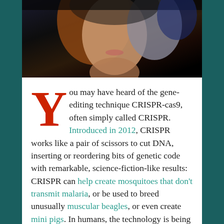[Figure (photo): Close-up portrait photo of a woman (Jennifer Doudna) against a dark/black background, showing face and upper shoulders with reddish-blonde and grey hair]
You may have heard of the gene-editing technique CRISPR-cas9, often simply called CRISPR. Introduced in 2012, CRISPR works like a pair of scissors to cut DNA, inserting or reordering bits of genetic code with remarkable, science-fiction-like results: CRISPR can help create mosquitoes that don't transmit malaria, or be used to breed unusually muscular beagles, or even create mini pigs. In humans, the technology is being tested to battle cancer — by removing patients' immune cells, editing them, and reinserting the weaponized cells into the body to hunt cancer.
One of the leading scientists who developed the technique is Jennifer Doudna, a biochemist at the